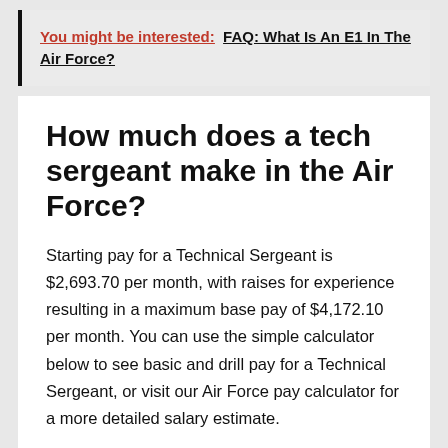You might be interested: FAQ: What Is An E1 In The Air Force?
How much does a tech sergeant make in the Air Force?
Starting pay for a Technical Sergeant is $2,693.70 per month, with raises for experience resulting in a maximum base pay of $4,172.10 per month. You can use the simple calculator below to see basic and drill pay for a Technical Sergeant, or visit our Air Force pay calculator for a more detailed salary estimate.